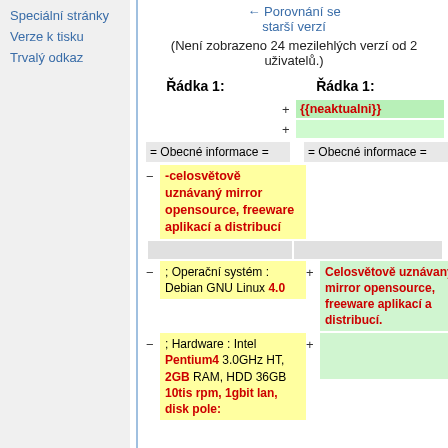Speciální stránky
Verze k tisku
Trvalý odkaz
← Porovnání se starší verzí
(Není zobrazeno 24 mezilehlých verzí od 2 uživatelů.)
| Řádka 1: | Řádka 1: |
| --- | --- |
| +{{neaktualni}} |  |
| + |  |
| = Obecné informace = | = Obecné informace = |
| -celosvětově uznávaný mirror opensource, freeware aplikací a distribucí |  |
| (gray) | (gray) |
| ; Operační systém : Debian GNU Linux 4.0 | + Celosvětově uznávaný mirror opensource, freeware aplikací a distribucí. |
| ; Hardware : Intel Pentium4 3.0GHz HT, 2GB RAM, HDD 36GB 10tis rpm, 1gbit lan, disk pole: | + |